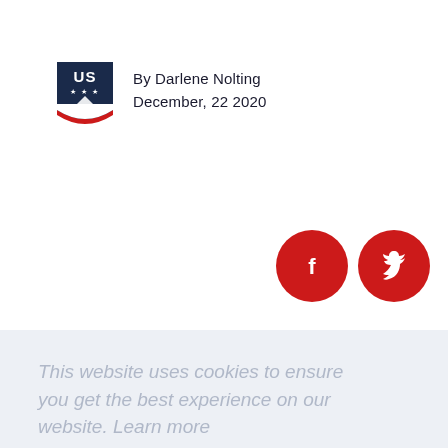[Figure (logo): US Ski and Snowboard shield logo — blue shield with 'US' text and stars, red stripe at bottom]
By Darlene Nolting
December, 22 2020
[Figure (infographic): Two red circular social media icons: Facebook (f) and Twitter (bird)]
This website uses cookies to ensure you get the best experience on our website. Learn more